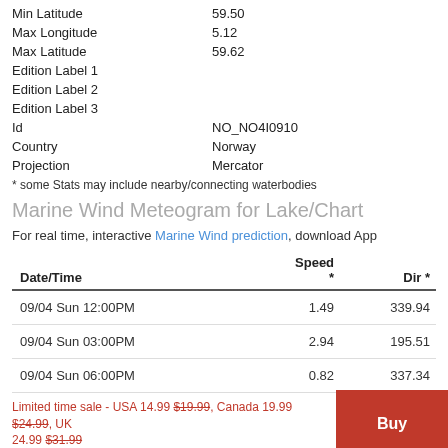| Field | Value |
| --- | --- |
| Min Latitude | 59.50 |
| Max Longitude | 5.12 |
| Max Latitude | 59.62 |
| Edition Label 1 |  |
| Edition Label 2 |  |
| Edition Label 3 |  |
| Id | NO_NO4I0910 |
| Country | Norway |
| Projection | Mercator |
* some Stats may include nearby/connecting waterbodies
Marine Wind Meteogram for Lake/Chart
For real time, interactive Marine Wind prediction, download App
| Date/Time | Speed * | Dir * |
| --- | --- | --- |
| 09/04 Sun 12:00PM | 1.49 | 339.94 |
| 09/04 Sun 03:00PM | 2.94 | 195.51 |
| 09/04 Sun 06:00PM | 0.82 | 337.34 |
| 09/04 Sun 09:00PM | 6.21 | 337.15 |
Limited time sale - USA 14.99 $19.99, Canada 19.99 $24.99, UK 24.99 $31.99